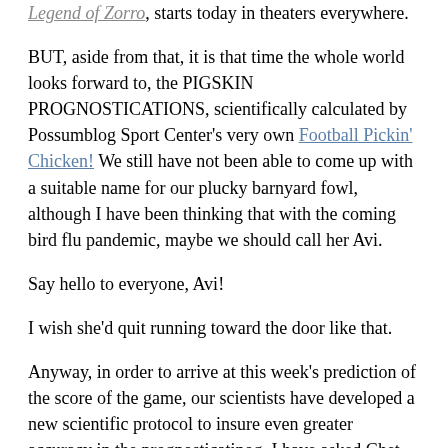Legend of Zorro, starts today in theaters everywhere.
BUT, aside from that, it is that time the whole world looks forward to, the PIGSKIN PROGNOSTICATIONS, scientifically calculated by Possumblog Sport Center's very own Football Pickin' Chicken! We still have not been able to come up with a suitable name for our plucky barnyard fowl, although I have been thinking that with the coming bird flu pandemic, maybe we should call her Avi.
Say hello to everyone, Avi!
I wish she'd quit running toward the door like that.
Anyway, in order to arrive at this week's prediction of the score of the game, our scientists have developed a new scientific protocol to insure even greater accuracy in the prognosticatinog. I have asked Chet the E-Mail Boy to give her back her cell phone, and she will be allowed to peck out her predictions on the keypad. (Avi's cell phone is graciously provided by T-Mobile.)
Okay, let's see how she does...